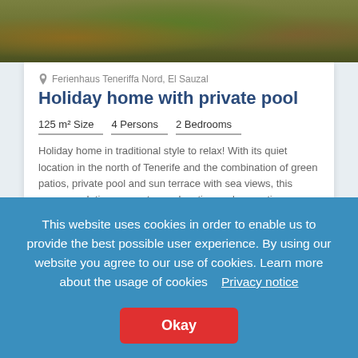[Figure (photo): Photo of tree foliage/vegetation, dark greens and browns, cropped top strip]
Ferienhaus Teneriffa Nord, El Sauzal
Holiday home with private pool
125 m² Size   4 Persons   2 Bedrooms
Holiday home in traditional style to relax! With its quiet location in the north of Tenerife and the combination of green patios, private pool and sun terrace with sea views, this accommodation guarantees relaxation and recreation.
[Figure (illustration): Row of amenity icons: satellite dish, wildlife/animal icon, wifi router, fireplace, barbecue grill, parking/pool icon]
This website uses cookies in order to enable us to provide the best possible user experience. By using our website you agree to our use of cookies. Learn more about the usage of cookies   Privacy notice
Okay